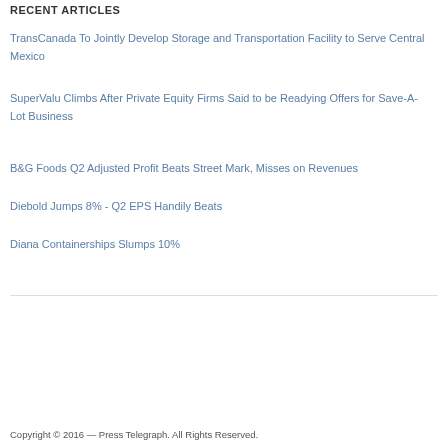RECENT ARTICLES
TransCanada To Jointly Develop Storage and Transportation Facility to Serve Central Mexico
SuperValu Climbs After Private Equity Firms Said to be Readying Offers for Save-A-Lot Business
B&G Foods Q2 Adjusted Profit Beats Street Mark, Misses on Revenues
Diebold Jumps 8% - Q2 EPS Handily Beats
Diana Containerships Slumps 10%
Copyright © 2016 — Press Telegraph. All Rights Reserved.